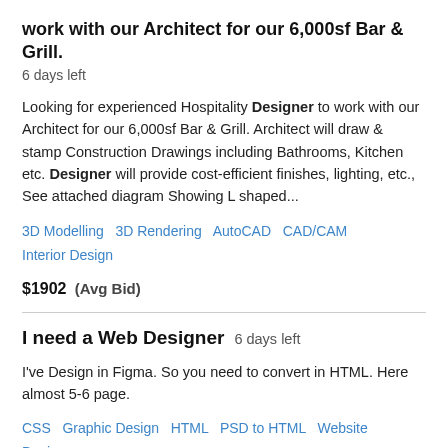work with our Architect for our 6,000sf Bar & Grill.
6 days left
Looking for experienced Hospitality Designer to work with our Architect for our 6,000sf Bar & Grill. Architect will draw & stamp Construction Drawings including Bathrooms, Kitchen etc. Designer will provide cost-efficient finishes, lighting, etc., See attached diagram Showing L shaped...
3D Modelling   3D Rendering   AutoCAD   CAD/CAM   Interior Design
$1902  (Avg Bid)
I need a Web Designer  6 days left
I've Design in Figma. So you need to convert in HTML. Here almost 5-6 page.
CSS   Graphic Design   HTML   PSD to HTML   Website Design